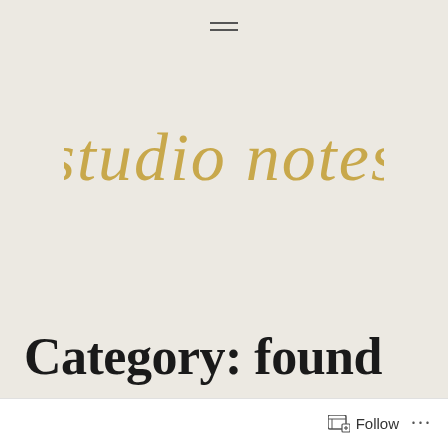≡
[Figure (logo): Studio notes handwritten script logo in golden/tan color on beige background]
Category: found
Follow ...